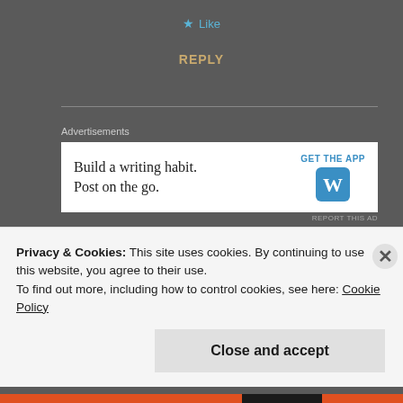★ Like
REPLY
Advertisements
[Figure (other): Advertisement banner: 'Build a writing habit. Post on the go.' with 'GET THE APP' button and WordPress logo]
REPORT THIS AD
John Fioravanti
Privacy & Cookies: This site uses cookies. By continuing to use this website, you agree to their use.
To find out more, including how to control cookies, see here: Cookie Policy
Close and accept